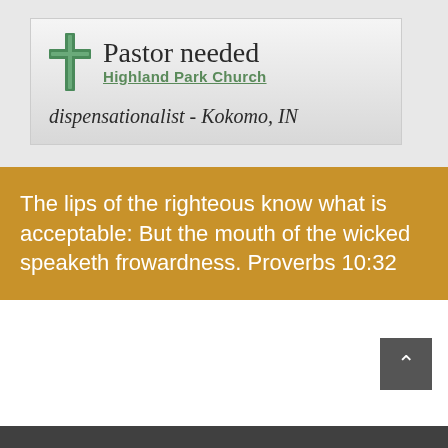[Figure (logo): Highland Park Church banner image with green cross icon, title 'Pastor needed', subtitle 'Highland Park Church', and text 'dispensationalist - Kokomo, IN']
The lips of the righteous know what is acceptable: But the mouth of the wicked speaketh frowardness. Proverbs 10:32